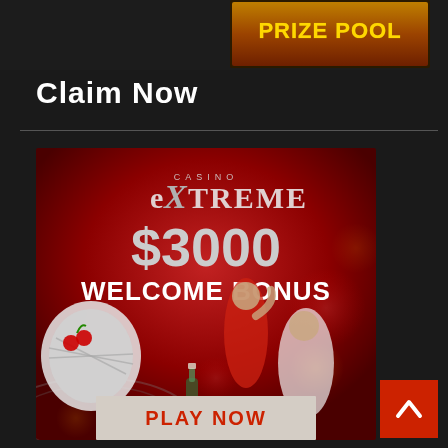[Figure (illustration): Top banner area with 'PRIZE POOL' text badge on dark background with fire/flame effect]
Claim Now
[Figure (illustration): Casino Extreme advertisement banner: red background with bokeh bokeh lights, 'CASINO EXTREME' logo, '$3000 WELCOME BONUS' text, roulette wheel, slot machine, two people (woman in red dress, man in white jacket), and a 'PLAY NOW' button at the bottom]
[Figure (illustration): Red scroll-to-top button with upward chevron arrow in bottom right corner]